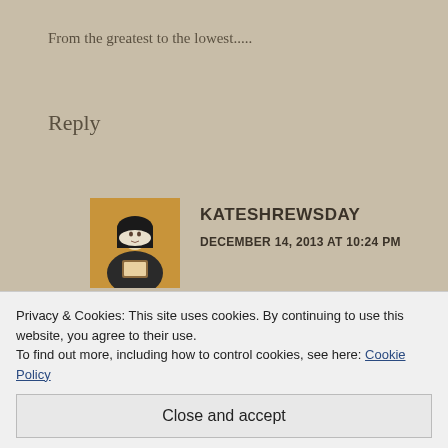From the greatest to the lowest.....
Reply
[Figure (illustration): Small avatar image of a medieval-style illustration of a woman in black and white habit against a golden background]
KATESHREWSDAY
DECEMBER 14, 2013 AT 10:24 PM
Quite. Such extremes!
Reply
Privacy & Cookies: This site uses cookies. By continuing to use this website, you agree to their use.
To find out more, including how to control cookies, see here: Cookie Policy
Close and accept